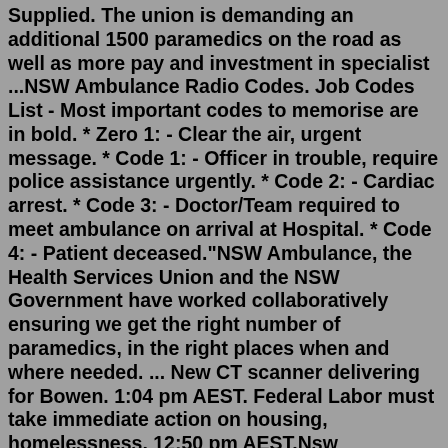Supplied. The union is demanding an additional 1500 paramedics on the road as well as more pay and investment in specialist ...NSW Ambulance Radio Codes. Job Codes List - Most important codes to memorise are in bold. * Zero 1: - Clear the air, urgent message. * Code 1: - Officer in trouble, require police assistance urgently. * Code 2: - Cardiac arrest. * Code 3: - Doctor/Team required to meet ambulance on arrival at Hospital. * Code 4: - Patient deceased."NSW Ambulance, the Health Services Union and the NSW Government have worked collaboratively ensuring we get the right number of paramedics, in the right places when and where needed. ... New CT scanner delivering for Bowen. 1:04 pm AEST. Federal Labor must take immediate action on housing, homelessness. 12:50 pm AEST.Nsw ambulance scanner; chicago pd fanfiction jay bandage; nndm news release; is dylan dreyer nice; china union pay bin range; summit obituaries; one lord verse; naruto ranton fanfiction. houses for rent near 127th; paris flea market hours; fake call